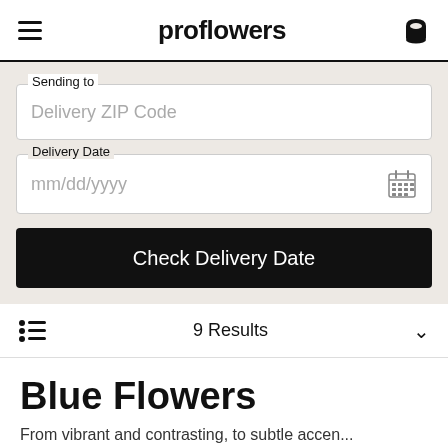proflowers
Sending to
Delivery ZIP Code
Delivery Date
mm/dd/yyyy
Check Delivery Date
9 Results
Blue Flowers
From vibrant and contrasting, to subtle accen...